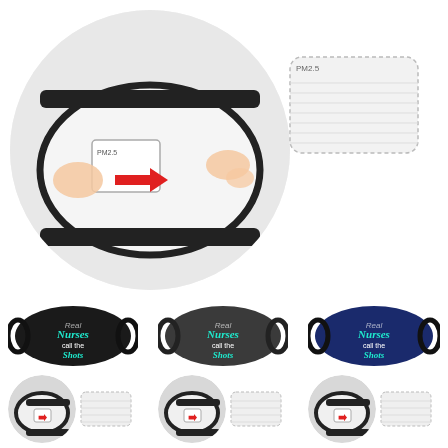[Figure (photo): Large circular cropped photo showing hands inserting a PM2.5 filter into a white fabric face mask with black edges. A red arrow indicates the filter insertion direction. A PM2.5 filter label is visible on the mask pocket.]
[Figure (photo): PM2.5 replacement filter pad, white rectangular with rounded corners and dotted border, labeled PM2.5 at top left.]
[Figure (photo): Black face mask with teal/white text reading 'Nurses call the Shots' with decorative lettering and small text below.]
[Figure (photo): Dark gray face mask with teal/white text reading 'Nurses call the Shots'.]
[Figure (photo): Navy blue face mask with teal/white text reading 'Nurses call the Shots'.]
[Figure (photo): Small circular thumbnail showing filter insertion into white mask, with a small PM2.5 filter pad beside it — variant 1 detail.]
[Figure (photo): Small circular thumbnail showing filter insertion into white mask, with a small PM2.5 filter pad beside it — variant 2 detail.]
[Figure (photo): Small circular thumbnail showing filter insertion into white mask, with a small PM2.5 filter pad beside it — variant 3 detail.]